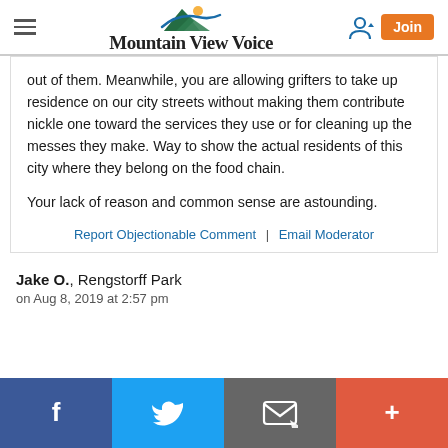Mountain View Voice
out of them. Meanwhile, you are allowing grifters to take up residence on our city streets without making them contribute nickle one toward the services they use or for cleaning up the messes they make. Way to show the actual residents of this city where they belong on the food chain.

Your lack of reason and common sense are astounding.
Report Objectionable Comment | Email Moderator
Jake O., Rengstorff Park
on Aug 8, 2019 at 2:57 pm